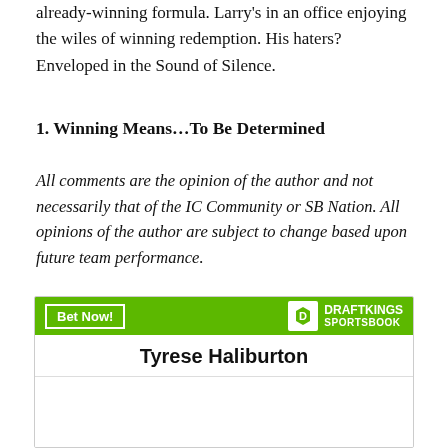already-winning formula. Larry’s in an office enjoying the wiles of winning redemption. His haters? Enveloped in the Sound of Silence.
1. Winning Means…To Be Determined
All comments are the opinion of the author and not necessarily that of the IC Community or SB Nation. All opinions of the author are subject to change based upon future team performance.
[Figure (other): DraftKings Sportsbook advertisement widget with green header bar containing 'Bet Now!' button and DraftKings Sportsbook logo, below which shows 'Tyrese Haliburton' as a player name with a white content area below.]